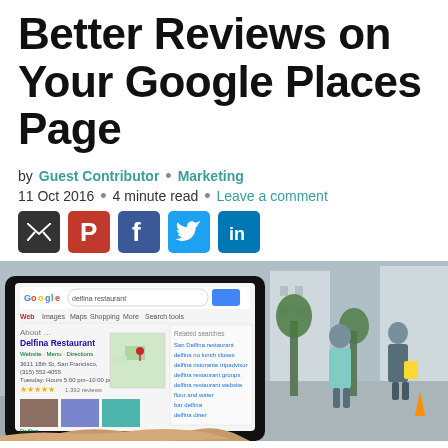Better Reviews on Your Google Places Page
by Guest Contributor · Marketing
11 Oct 2016 · 4 minute read · Leave a comment
[Figure (other): Social sharing icons: email, Pinterest, Facebook, Twitter, LinkedIn]
[Figure (photo): Person holding a tablet showing a Google search result for Delfina Restaurant, with a street scene in the background]